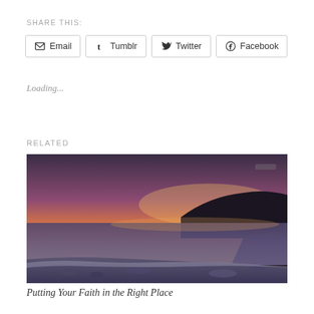SHARE THIS:
Email | Tumblr | Twitter | Facebook
Loading...
RELATED
[Figure (photo): Coastal sunset landscape photograph showing a calm shoreline with dark silhouetted cliffs in the background, orange and purple sky, and rocky beach in the foreground]
Putting Your Faith in the Right Place